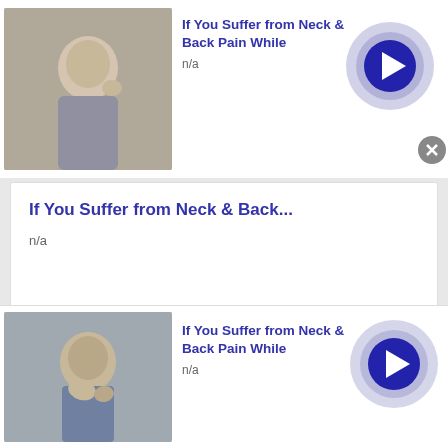[Figure (screenshot): Top ad banner: thumbnail of elderly man touching neck, title 'If You Suffer from Neck & Back Pain While', subtitle 'n/a', arrow button on right]
If You Suffer from Neck & Back Pain While
n/a
[Figure (screenshot): Expanded card: title 'If You Suffer from Neck & Back...', subtitle 'n/a', image of woman in red touching neck, arrow button]
If You Suffer from Neck & Back...
n/a
[Figure (screenshot): Bottom ad banner: thumbnail of person scratching, title 'If You Suffer from Neck & Back Pain While', subtitle 'n/a', arrow button on right]